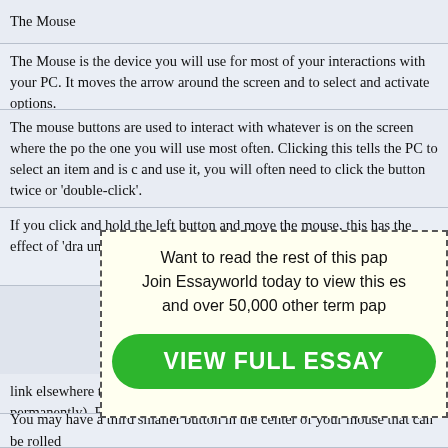The Mouse
The Mouse is the device you will use for most of your interactions with your PC. It moves the arrow around the screen and to select and activate options.
The mouse buttons are used to interact with whatever is on the screen where the pointer is. The left button is the one you will use most often. Clicking this tells the PC to select an item and is called a left-click. To open and use it, you will often need to click the button twice or 'double-click'.
If you click and hold the left button and move the mouse, this has the effect of 'dragging' the selected item until you release the ...
[Figure (infographic): Dashed border box with light yellow background containing promotional text: 'Want to read the rest of this paper? Join Essayworld today to view this essay and over 50,000 other term papers.' with a green 'VIEW FULL ESSAY' button.]
link elsewhere to give quick access to this object), Delete (remove permanently), Properties (find out information).
You may have a third smaller button in the center of your mouse that can be rolled...